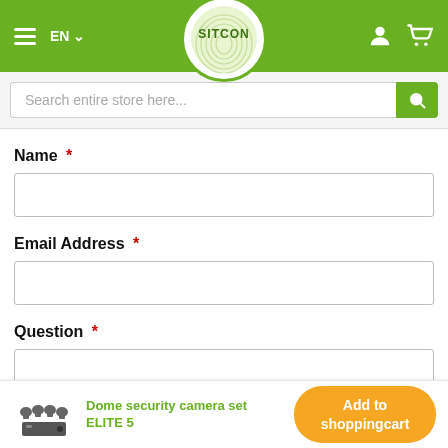[Figure (screenshot): SITCON store website header with green background, hamburger menu, EN language selector, SITCON logo in white circle, user and cart icons]
Search entire store here...
Name *
Email Address *
Question *
Dome security camera set ELITE 5
Add to shoppingcart